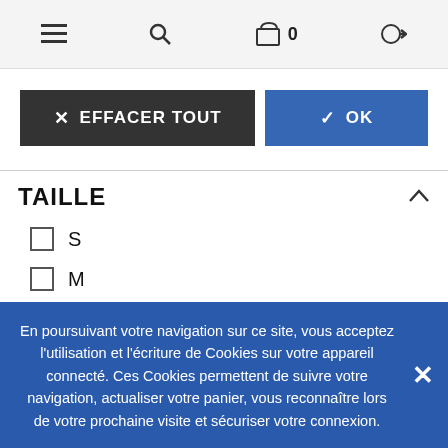≡  🔍  🛒 0  ➔
✕ EFFACER TOUT  ✓ OK
TAILLE
☐ S
☐ M
☐ L
☐ XL
☑ XXL
☑ 3XL
En poursuivant votre navigation sur ce site, vous acceptez l'utilisation et l'écriture de Cookies sur votre appareil connecté. Ces Cookies permettent de suivre votre navigation, actualiser votre panier, vous reconnaître lors de votre prochaine visite et sécuriser votre connexion.